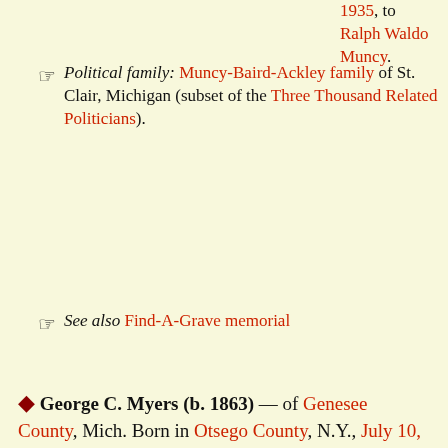1935, to Ralph Waldo Muncy.
Political family: Muncy-Baird-Ackley family of St. Clair, Michigan (subset of the Three Thousand Related Politicians).
See also Find-A-Grave memorial
◆ George C. Myers (b. 1863) — of Genesee County, Mich. Born in Otsego County, N.Y., July 10, 1863. Republican. Member of Michigan state house of representatives from Genesee County 2nd District; elected 1910. German and English ancestry. Burial location